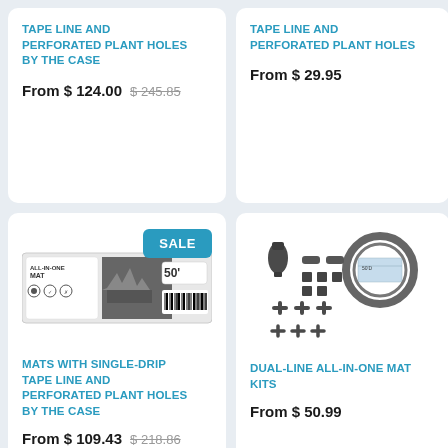TAPE LINE AND PERFORATED PLANT HOLES BY THE CASE
From $ 124.00  $ 245.85
TAPE LINE AND PERFORATED PLANT HOLES
From $ 29.95
[Figure (photo): Product packaging for All-In-One MAT with single-drip tape line, 50 ft roll, black and white packaging with barcode]
MATS WITH SINGLE-DRIP TAPE LINE AND PERFORATED PLANT HOLES BY THE CASE
From $ 109.43  $ 218.86
[Figure (photo): Dual-line all-in-one mat kit components including tubing coil, fittings, connectors, and emitters spread out, 50D]
DUAL-LINE ALL-IN-ONE MAT KITS
From $ 50.99